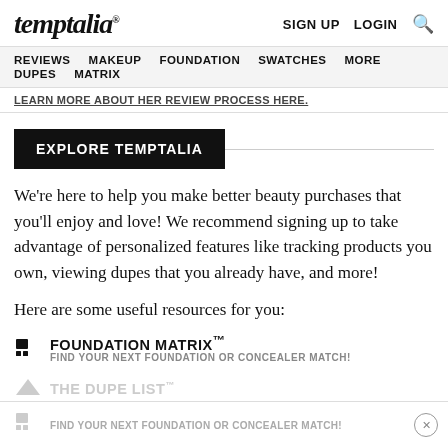temptalia® — SIGN UP  LOGIN  🔍
REVIEWS  MAKEUP  FOUNDATION  SWATCHES  MORE  DUPES  MATRIX
LEARN MORE ABOUT HER REVIEW PROCESS HERE.
EXPLORE TEMPTALIA
We're here to help you make better beauty purchases that you'll enjoy and love! We recommend signing up to take advantage of personalized features like tracking products you own, viewing dupes that you already have, and more!
Here are some useful resources for you:
FOUNDATION MATRIX™
FIND YOUR NEXT FOUNDATION OR CONCEALER MATCH!
THE DUPE LIST™